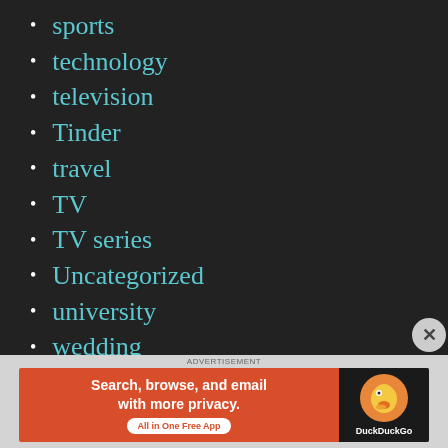sports
technology
television
Tinder
travel
TV
TV series
Uncategorized
university
wedding
whitemenblackwomen
wine
Women
[Figure (screenshot): DuckDuckGo advertisement banner: 'Search, browse, and email with more privacy. All in One Free App' with DuckDuckGo logo on dark background]